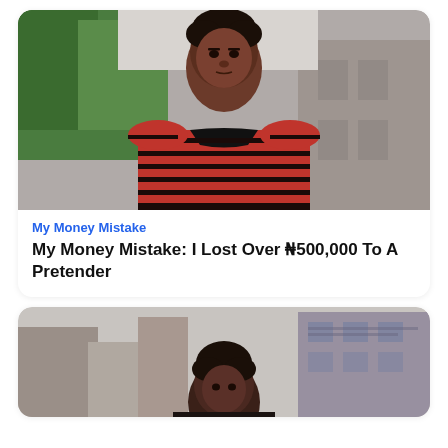[Figure (photo): Young Black man in red and black striped t-shirt looking at camera, green trees in background, outdoors portrait]
My Money Mistake
My Money Mistake: I Lost Over ₦500,000 To A Pretender
[Figure (photo): Young Black man in dark clothing against urban skyline background with buildings, partial view]